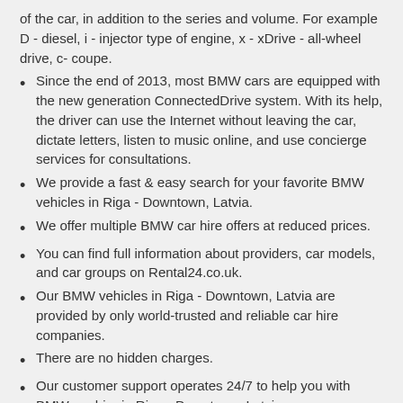of the car, in addition to the series and volume. For example D - diesel, i - injector type of engine, x - xDrive - all-wheel drive, c- coupe.
Since the end of 2013, most BMW cars are equipped with the new generation ConnectedDrive system. With its help, the driver can use the Internet without leaving the car, dictate letters, listen to music online, and use concierge services for consultations.
We provide a fast & easy search for your favorite BMW vehicles in Riga - Downtown, Latvia.
We offer multiple BMW car hire offers at reduced prices.
You can find full information about providers, car models, and car groups on Rental24.co.uk.
Our BMW vehicles in Riga - Downtown, Latvia are provided by only world-trusted and reliable car hire companies.
There are no hidden charges.
Our customer support operates 24/7 to help you with BMW car hire in Riga - Downtown, Latvia.
Best car hire companies at Riga – Downtown